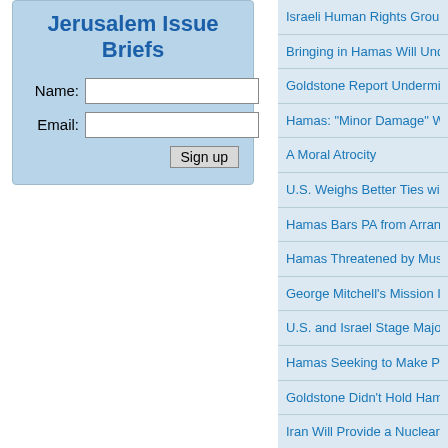Jerusalem Issue Briefs
Name: [input] Email: [input] Sign up
Israeli Human Rights Group Ca...
Bringing in Hamas Will Undo th...
Goldstone Report Undermines...
Hamas: "Minor Damage" We S...
A Moral Atrocity
U.S. Weighs Better Ties with S...
Hamas Bars PA from Arranging...
Hamas Threatened by Muslims...
George Mitchell's Mission Impo...
U.S. and Israel Stage Major Ai...
Hamas Seeking to Make Pales...
Goldstone Didn't Hold Hamas A...
Iran Will Provide a Nuclear Um...
What's Really on Trial in the G...
Who Lost Turkey?